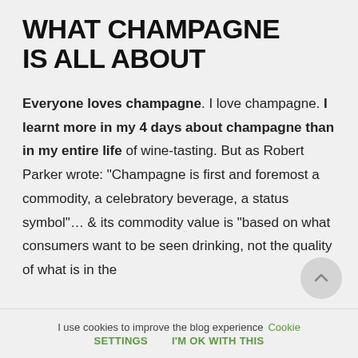WHAT CHAMPAGNE IS ALL ABOUT
Everyone loves champagne. I love champagne. I learnt more in my 4 days about champagne than in my entire life of wine-tasting. But as Robert Parker wrote: “Champagne is first and foremost a commodity, a celebratory beverage, a status symbol”… & its commodity value is “based on what consumers want to be seen drinking, not the quality of what is in the
I use cookies to improve the blog experience  Cookie settings  I'M OK WITH THIS